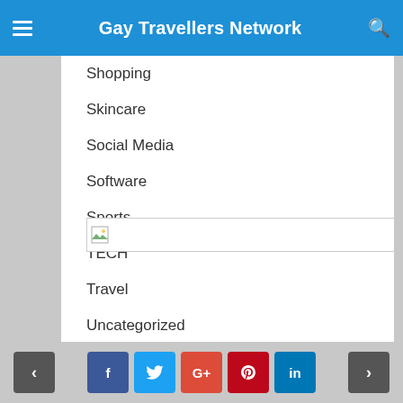Gay Travellers Network
Shopping
Skincare
Social Media
Software
Sports
TECH
Travel
Uncategorized
Wedding
[Figure (other): Image placeholder with broken image icon inside a bordered rectangle]
< | Facebook | Twitter | Google+ | Pinterest | LinkedIn | >